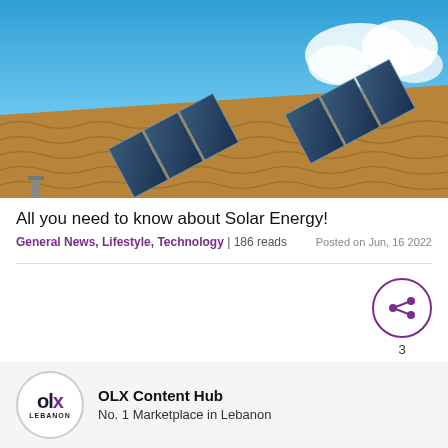[Figure (photo): Solar panels installed on a terracotta tiled roof with blue sky and white clouds in the background]
All you need to know about Solar Energy!
General News, Lifestyle, Technology | 186 reads
Posted on Jun, 16 2022
[Figure (infographic): Share button icon inside a purple circle with number 3 below]
[Figure (logo): OLX Lebanon logo circle]
OLX Content Hub
No. 1 Marketplace in Lebanon